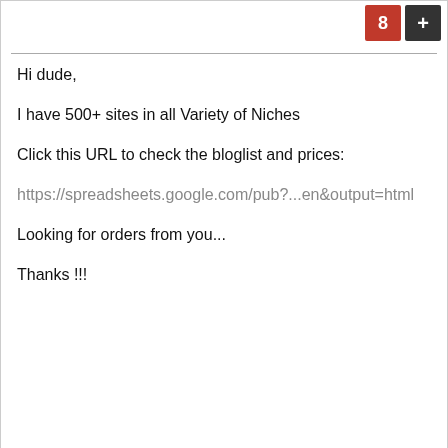[Figure (other): Red Google+8 button and dark + button in top right corner]
Hi dude,

I have 500+ sites in all Variety of Niches

Click this URL to check the bloglist and prices:

https://spreadsheets.google.com/pub?...en&output=html

Looking for orders from you...

Thanks !!!
[Figure (other): Small blue circle/disc icon (reaction or rating button)]
4th Feb 2011, 02:39 AM
#16
allen88
Active Warrior

Join Date: 2011
Posts: 57
Thanks: 0
Thanked 0 Times in 0 Posts